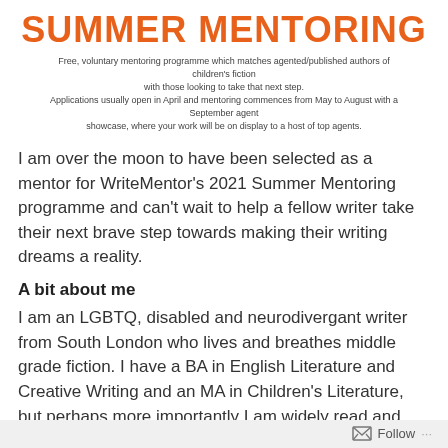SUMMER MENTORING
Free, voluntary mentoring programme which matches agented/published authors of children's fiction with those looking to take that next step.
Applications usually open in April and mentoring commences from May to August with a September agent showcase, where your work will be on display to a host of top agents.
I am over the moon to have been selected as a mentor for WriteMentor’s 2021 Summer Mentoring programme and can’t wait to help a fellow writer take their next brave step towards making their writing dreams a reality.
A bit about me
I am an LGBTQ, disabled and neurodivergant writer from South London who lives and breathes middle grade fiction. I have a BA in English Literature and Creative Writing and an MA in Children’s Literature, but perhaps more importantly I am widely read and hugely enthusiastic about great middle grade books.
Follow